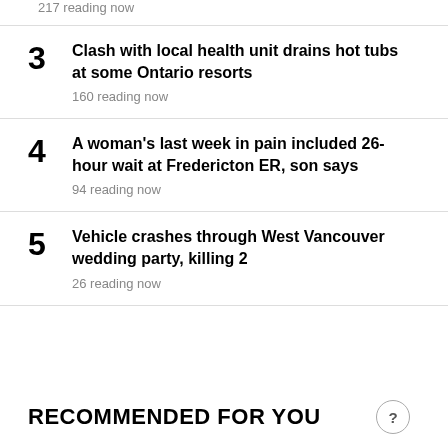217 reading now
3 Clash with local health unit drains hot tubs at some Ontario resorts
160 reading now
4 A woman's last week in pain included 26-hour wait at Fredericton ER, son says
94 reading now
5 Vehicle crashes through West Vancouver wedding party, killing 2
26 reading now
RECOMMENDED FOR YOU